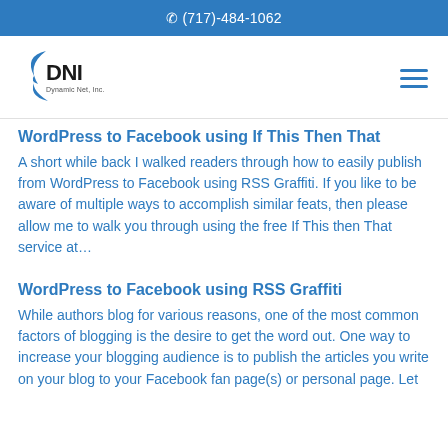✆ (717)-484-1062
[Figure (logo): DNI Dynamic Net, Inc. logo with blue swoosh graphic]
WordPress to Facebook using If This Then That
A short while back I walked readers through how to easily publish from WordPress to Facebook using RSS Graffiti. If you like to be aware of multiple ways to accomplish similar feats, then please allow me to walk you through using the free If This then That service at...
WordPress to Facebook using RSS Graffiti
While authors blog for various reasons, one of the most common factors of blogging is the desire to get the word out. One way to increase your blogging audience is to publish the articles you write on your blog to your Facebook fan page(s) or personal page. Let